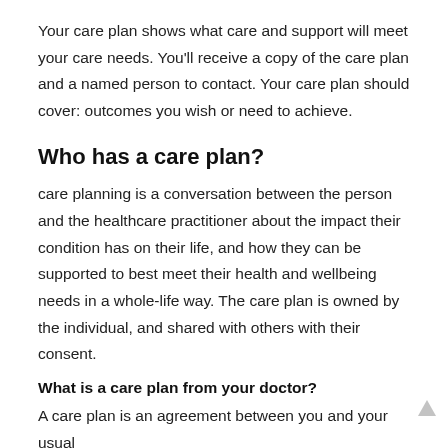Your care plan shows what care and support will meet your care needs. You'll receive a copy of the care plan and a named person to contact. Your care plan should cover: outcomes you wish or need to achieve.
Who has a care plan?
care planning is a conversation between the person and the healthcare practitioner about the impact their condition has on their life, and how they can be supported to best meet their health and wellbeing needs in a whole-life way. The care plan is owned by the individual, and shared with others with their consent.
What is a care plan from your doctor?
A care plan is an agreement between you and your usual